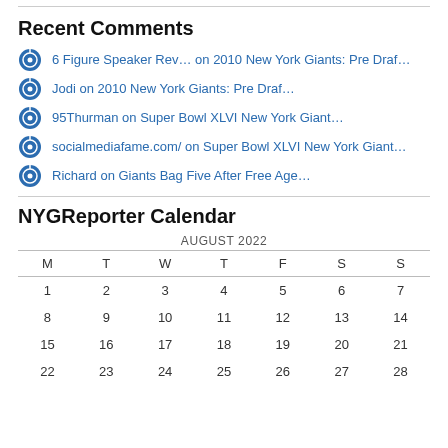Recent Comments
6 Figure Speaker Rev… on 2010 New York Giants: Pre Draf…
Jodi on 2010 New York Giants: Pre Draf…
95Thurman on Super Bowl XLVI New York Giant…
socialmediafame.com/ on Super Bowl XLVI New York Giant…
Richard on Giants Bag Five After Free Age…
NYGReporter Calendar
| M | T | W | T | F | S | S |
| --- | --- | --- | --- | --- | --- | --- |
| 1 | 2 | 3 | 4 | 5 | 6 | 7 |
| 8 | 9 | 10 | 11 | 12 | 13 | 14 |
| 15 | 16 | 17 | 18 | 19 | 20 | 21 |
| 22 | 23 | 24 | 25 | 26 | 27 | 28 |